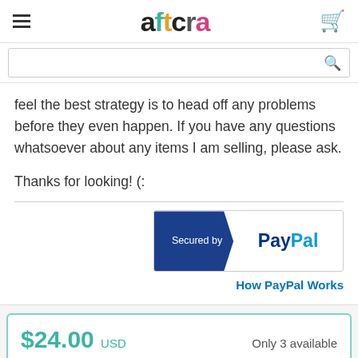aftcra
feel the best strategy is to head off any problems before they even happen. If you have any questions whatsoever about any items I am selling, please ask.
Thanks for looking! (:
[Figure (logo): Secured by PayPal badge showing blue left panel with 'Secured by' text and white right panel with PayPal logo]
How PayPal Works
$24.00 USD   Only 3 available
Head Si...